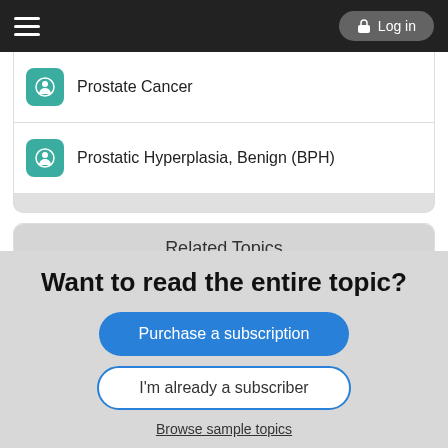Log in
Prostate Cancer
Prostatic Hyperplasia, Benign (BPH)
Related Topics
saw palmetto
Gynecomastia
Want to read the entire topic?
Purchase a subscription
I'm already a subscriber
Browse sample topics